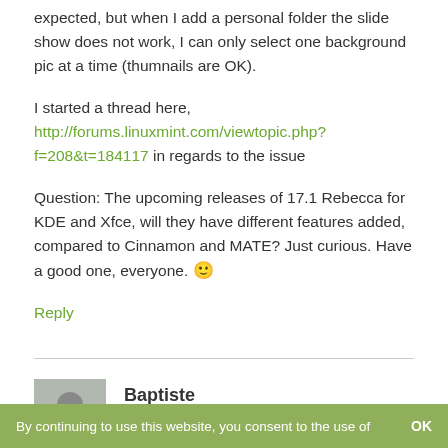expected, but when I add a personal folder the slide show does not work, I can only select one background pic at a time (thumnails are OK).
I started a thread here, http://forums.linuxmint.com/viewtopic.php?f=208&t=184117 in regards to the issue
Question: The upcoming releases of 17.1 Rebecca for KDE and Xfce, will they have different features added, compared to Cinnamon and MATE? Just curious. Have a good one, everyone. 🙂
Reply
Baptiste
December 10, 2014 at 4:16 pm
By continuing to use this website, you consent to the use of
OK